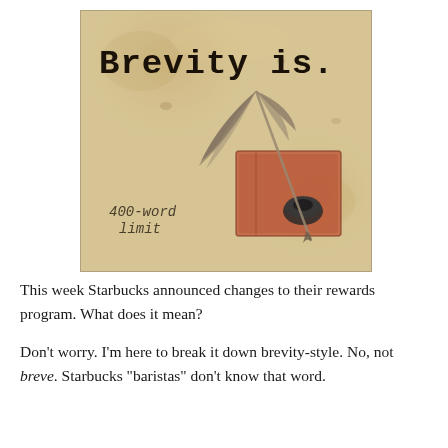[Figure (illustration): Parchment-style image with large bold typewriter text 'Brevity is.' at top, a feather quill resting on a worn notebook with an ink pot, and italic typewriter text '400-word limit' in the lower left corner. Background is aged tan/beige parchment texture.]
This week Starbucks announced changes to their rewards program. What does it mean?
Don't worry. I'm here to break it down brevity-style. No, not breve. Starbucks "baristas" don't know that word.